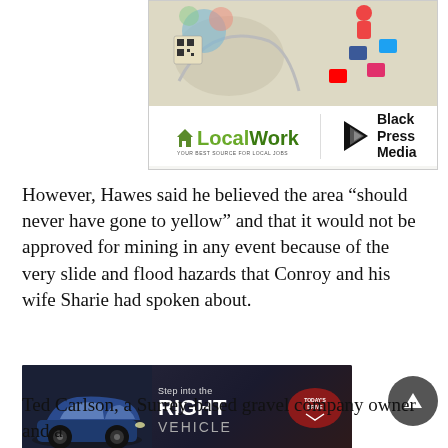[Figure (illustration): Advertisement: LocalWork.ca and Black Press Media ad with a map illustration at top and logos at bottom]
However, Hawes said he believed the area “should never have gone to yellow” and that it would not be approved for mining in any event because of the very slide and flood hazards that Conroy and his wife Sharie had spoken about.
[Figure (illustration): Advertisement: Step into the RIGHT VEHICLE - Today's Drive banner ad with a blue SUV car image]
“I’m pretty sure that’s what’s going to happen,” he said.
Ted Carlson, a Surrey-based gravel company owner and a